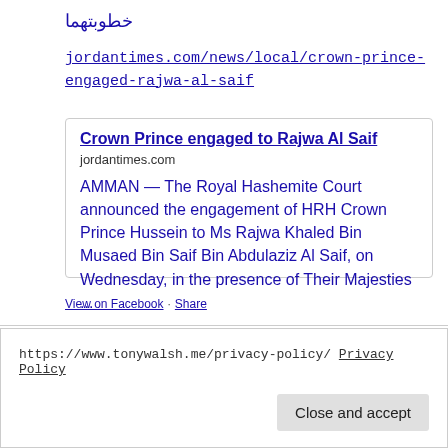خطوبتهما
jordantimes.com/news/local/crown-prince-engaged-rajwa-al-saif
Crown Prince engaged to Rajwa Al Saif
jordantimes.com
AMMAN — The Royal Hashemite Court announced the engagement of HRH Crown Prince Hussein to Ms Rajwa Khaled Bin Musaed Bin Saif Bin Abdulaziz Al Saif, on Wednesday, in the presence of Their Majesties ...
View on Facebook · Share
https://www.tonywalsh.me/privacy-policy/ Privacy Policy
Close and accept
a BIG WOW